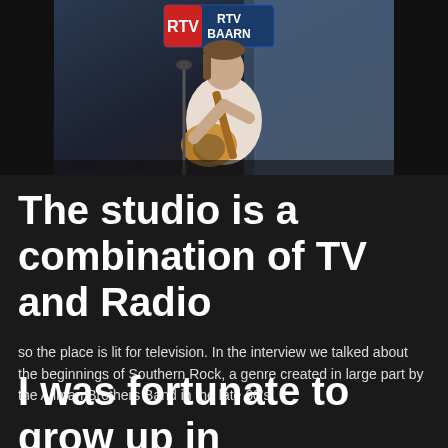[Figure (photo): A guitarist performing on stage in front of an RTV BAARN television sign, with blue stage lighting in the background.]
The studio is a combination of TV and Radio
so the place is lit for television. In the interview we talked about the beginnings of Southern Rock, a genre created in large part by the Allman Brothers Band in the late 60's.
I was fortunate to grow up in Jacksonville, Florida